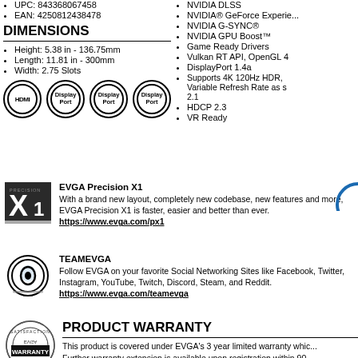UPC: 843368067458
EAN: 4250812438478
DIMENSIONS
Height: 5.38 in - 136.75mm
Length: 11.81 in - 300mm
Width: 2.75 Slots
[Figure (illustration): Port icons: HDMI, Display Port x3]
NVIDIA DLSS
NVIDIA® GeForce Experience
NVIDIA G-SYNC®
NVIDIA GPU Boost™
Game Ready Drivers
Vulkan RT API, OpenGL 4
DisplayPort 1.4a
Supports 4K 120Hz HDR, Variable Refresh Rate as s 2.1
HDCP 2.3
VR Ready
EVGA Precision X1
With a brand new layout, completely new codebase, new features and more, EVGA Precision X1 is faster, easier and better than ever. https://www.evga.com/px1
TEAMEVGA
Follow EVGA on your favorite Social Networking Sites like Facebook, Twitter, Instagram, YouTube, Twitch, Discord, Steam, and Reddit. https://www.evga.com/teamevga
PRODUCT WARRANTY
This product is covered under EVGA's 3 year limited warranty which... Further warranty extension is available upon registration within 90... For more details please visit https://www.evga.com/warranty/